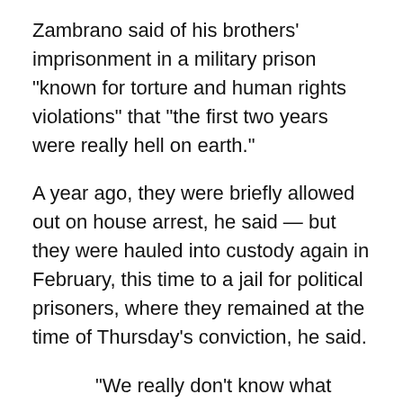Zambrano said of his brothers' imprisonment in a military prison “known for torture and human rights violations” that “the first two years were really hell on earth.”
A year ago, they were briefly allowed out on house arrest, he said — but they were hauled into custody again in February, this time to a jail for political prisoners, where they remained at the time of Thursday’s conviction, he said.
“We really don’t know what they want,” Zambrano said of the regime of socialist dictator Nicolas Maduro.
“Obviously all the charges are made up,” he said. “None of the so-called